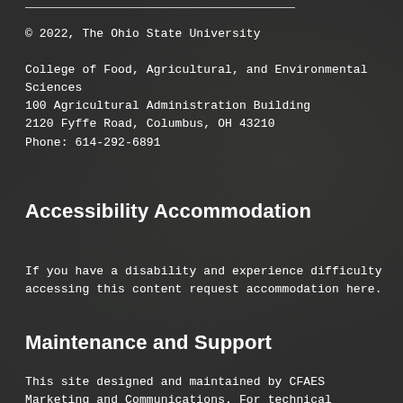© 2022, The Ohio State University
College of Food, Agricultural, and Environmental Sciences
100 Agricultural Administration Building
2120 Fyffe Road, Columbus, OH 43210
Phone: 614-292-6891
Accessibility Accommodation
If you have a disability and experience difficulty accessing this content request accommodation here.
Maintenance and Support
This site designed and maintained by CFAES Marketing and Communications. For technical